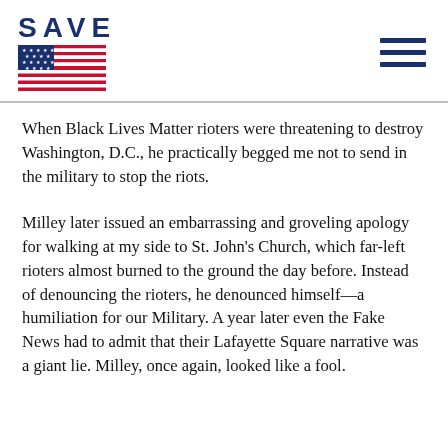SAVE
When Black Lives Matter rioters were threatening to destroy Washington, D.C., he practically begged me not to send in the military to stop the riots.
Milley later issued an embarrassing and groveling apology for walking at my side to St. John's Church, which far-left rioters almost burned to the ground the day before. Instead of denouncing the rioters, he denounced himself—a humiliation for our Military. A year later even the Fake News had to admit that their Lafayette Square narrative was a giant lie. Milley, once again, looked like a fool.